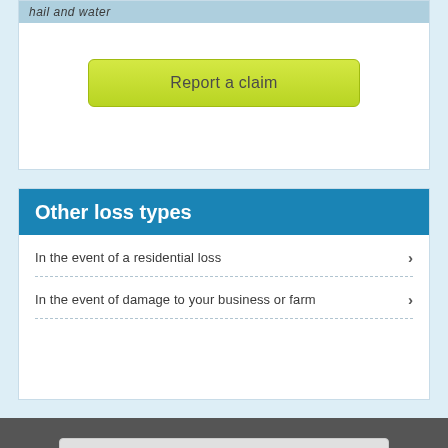hail and water
Report a claim
Other loss types
In the event of a residential loss
In the event of damage to your business or farm
Our insurances